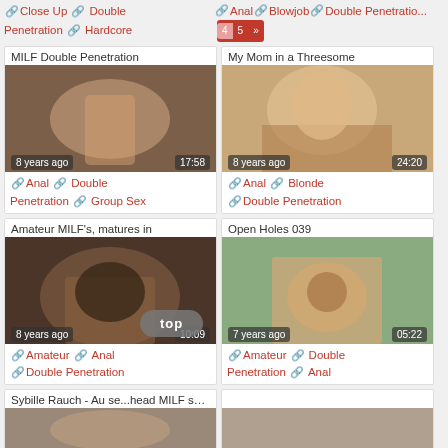🔗 Close Up 🔗 Double Penetration 🔗 Hardcore
🔗 Anal 🔗 Blowjob 🔗 Double Penetration  [pagination: 4 5 »]
[Figure (photo): Thumbnail for MILF Double Penetration video. 8 years ago, 17:58]
MILF Double Penetration
🔗 Anal 🔗 Double Penetration 🔗 Group Sex
[Figure (photo): Thumbnail for My Mom in a Threesome video. 8 years ago, 24:20]
My Mom in a Threesome
🔗 Anal 🔗 Blonde 🔗 Double Penetration
[Figure (photo): Thumbnail for Amateur MILF's, matures in video. 8 years ago, 10:09]
Amateur MILF's, matures in
🔗 Amateur 🔗 Anal 🔗 Double Penetration
[Figure (photo): Thumbnail for Open Holes 039 video. 7 years ago, 05:22]
Open Holes 039
🔗 Amateur 🔗 Double Penetration 🔗 Anal
Sybille Rauch - Au se...head MILF sucks two